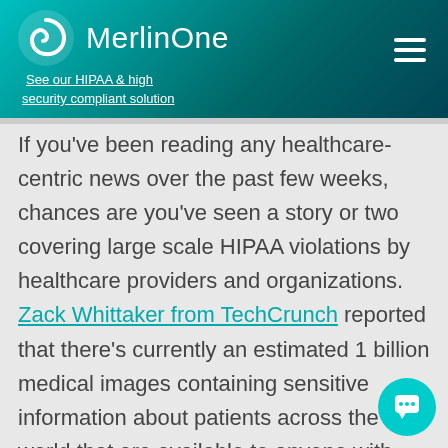MerlinOne — See our HIPAA & high security compliant solution
If you've been reading any healthcare-centric news over the past few weeks, chances are you've seen a story or two covering large scale HIPAA violations by healthcare providers and organizations. Zack Whittaker from TechCrunch reported that there's currently an estimated 1 billion medical images containing sensitive information about patients across the world that are available to anyone with internet connection and free download software. Of these 1 billion images,